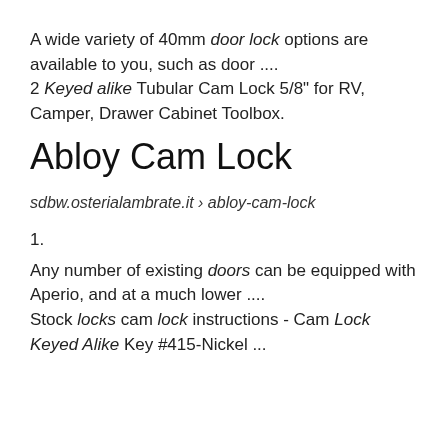A wide variety of 40mm door lock options are available to you, such as door .... 2 Keyed alike Tubular Cam Lock 5/8" for RV, Camper, Drawer Cabinet Toolbox.
Abloy Cam Lock
sdbw.osterialambrate.it › abloy-cam-lock
1.
Any number of existing doors can be equipped with Aperio, and at a much lower .... Stock locks cam lock instructions - Cam Lock Keyed Alike Key #415-Nickel ...